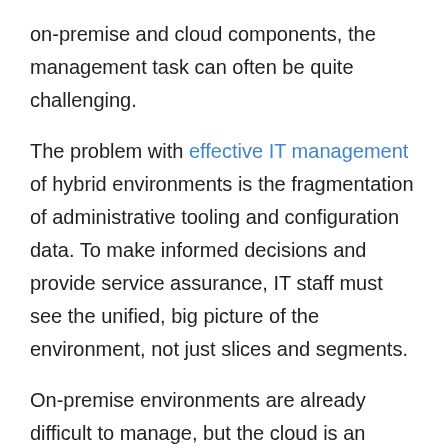on-premise and cloud components, the management task can often be quite challenging.

The problem with effective IT management of hybrid environments is the fragmentation of administrative tooling and configuration data. To make informed decisions and provide service assurance, IT staff must see the unified, big picture of the environment, not just slices and segments.

On-premise environments are already difficult to manage, but the cloud is an